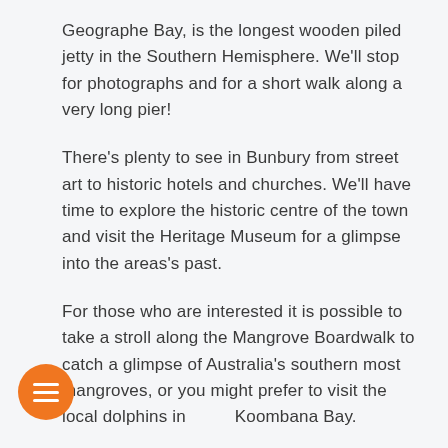Geographe Bay, is the longest wooden piled jetty in the Southern Hemisphere. We'll stop for photographs and for a short walk along a very long pier!
There's plenty to see in Bunbury from street art to historic hotels and churches. We'll have time to explore the historic centre of the town and visit the Heritage Museum for a glimpse into the areas's past.
For those who are interested it is possible to take a stroll along the Mangrove Boardwalk to catch a glimpse of Australia's southern most mangroves, or you might prefer to visit the local dolphins in Koombana Bay.